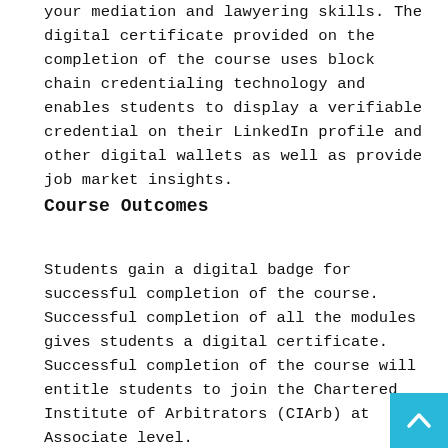your mediation and lawyering skills. The digital certificate provided on the completion of the course uses block chain credentialing technology and enables students to display a verifiable credential on their LinkedIn profile and other digital wallets as well as provide job market insights.
Course Outcomes
Students gain a digital badge for successful completion of the course.
Successful completion of all the modules gives students a digital certificate.
Successful completion of the course will entitle students to join the Chartered Institute of Arbitrators (CIArb) at Associate level.